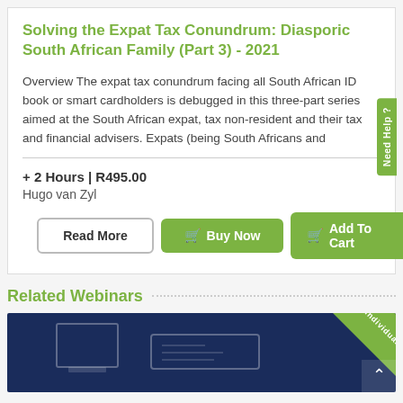Solving the Expat Tax Conundrum: Diasporic South African Family (Part 3) - 2021
Overview The expat tax conundrum facing all South African ID book or smart cardholders is debugged in this three-part series aimed at the South African expat, tax non-resident and their tax and financial advisers. Expats (being South Africans and
+ 2 Hours | R495.00
Hugo van Zyl
Read More
Buy Now
Add To Cart
Related Webinars
[Figure (screenshot): Dark blue webinar thumbnail card with outline shapes of a laptop and card reader. A green diagonal ribbon in the top right corner reads 'Individual'. A white scroll-up arrow button is visible in the bottom right.]